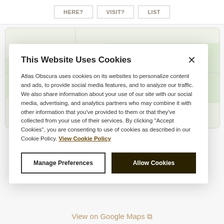HERE? | VISIT? | LIST
[Figure (map): Partial map view from Atlas Obscura, partially obscured by cookie consent modal]
This Website Uses Cookies
Atlas Obscura uses cookies on its websites to personalize content and ads, to provide social media features, and to analyze our traffic. We also share information about your use of our site with our social media, advertising, and analytics partners who may combine it with other information that you've provided to them or that they've collected from your use of their services. By clicking "Accept Cookies", you are consenting to use of cookies as described in our Cookie Policy. View Cookie Policy
Manage Preferences | Allow Cookies
View on Google Maps